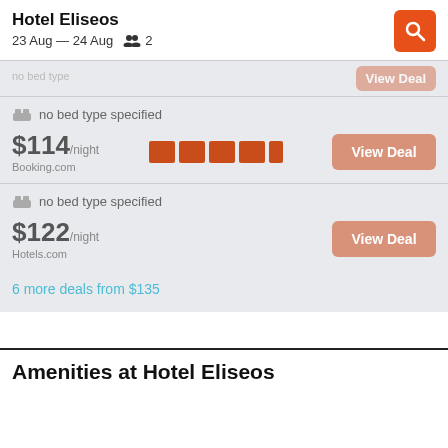Hotel Eliseos
23 Aug — 24 Aug   2
no bed type specified
$114/night
Booking.com
View Deal
no bed type specified
$122/night
Hotels.com
View Deal
6 more deals from $135
Amenities at Hotel Eliseos